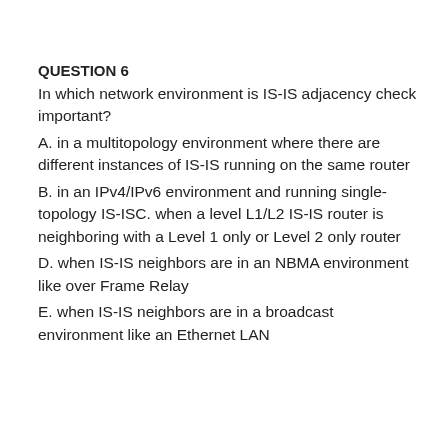QUESTION 6
In which network environment is IS-IS adjacency check important?
A. in a multitopology environment where there are different instances of IS-IS running on the same router
B. in an IPv4/IPv6 environment and running single-topology IS-ISC. when a level L1/L2 IS-IS router is neighboring with a Level 1 only or Level 2 only router
D. when IS-IS neighbors are in an NBMA environment like over Frame Relay
E. when IS-IS neighbors are in a broadcast environment like an Ethernet LAN